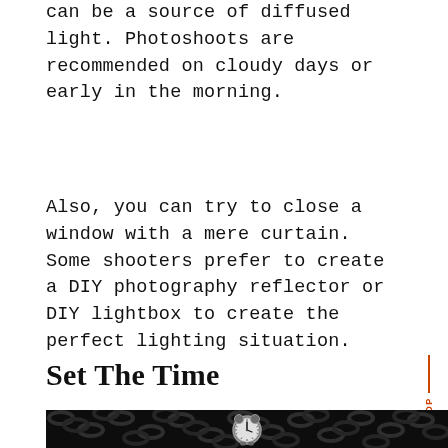can be a source of diffused light. Photoshoots are recommended on cloudy days or early in the morning.
Also, you can try to close a window with a mere curtain. Some shooters prefer to create a DIY photography reflector or DIY lightbox to create the perfect lighting situation.
Set The Time
[Figure (photo): Black and white photo of an analog alarm clock surrounded by dark chains on a black background]